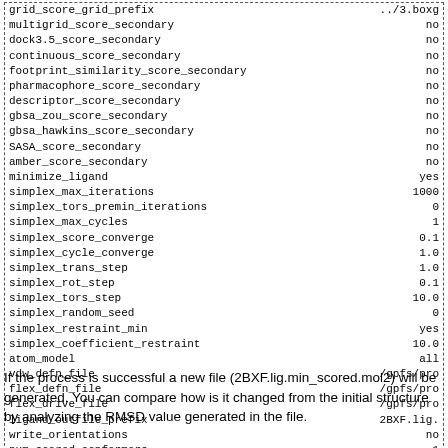grid_score_grid_prefix   ../3.boxg
multigrid_score_secondary   no
dock3.5_score_secondary   no
continuous_score_secondary   no
footprint_similarity_score_secondary   no
pharmacophore_score_secondary   no
descriptor_score_secondary   no
gbsa_zou_score_secondary   no
gbsa_hawkins_score_secondary   no
SASA_score_secondary   no
amber_score_secondary   no
minimize_ligand   yes
simplex_max_iterations   1000
simplex_tors_premin_iterations   0
simplex_max_cycles   1
simplex_score_converge   0.1
simplex_cycle_converge   1.0
simplex_trans_step   1.0
simplex_rot_step   0.1
simplex_tors_step   10.0
simplex_random_seed   0
simplex_restraint_min   yes
simplex_coefficient_restraint   10.0
atom_model   all
vdw_defn_file   /gpfs/pro
flex_defn_file   /gpfs/pro
flex_drive_file   /gpfs/pro
ligand_outfile_prefix   2BXF.lig.
write_orientations   no
num_scored_conformers   1
rank_ligands   no
If the process is successful a new file (2BXF.lig.min_scored.mol2) will be generated. You can compare how is it changed from the initial structure by analyzing the RMSD value generated in the file.